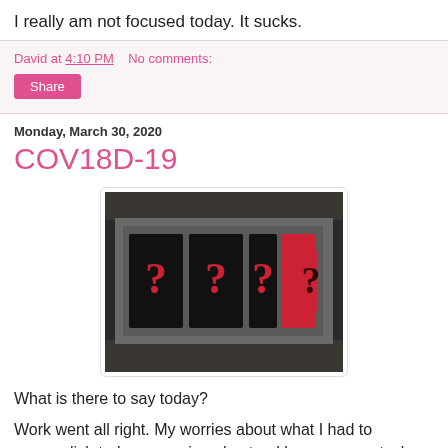I really am not focused today. It sucks.
David at 4:10 PM    No comments:
Share
Monday, March 30, 2020
COV18D-19
[Figure (photo): A dark image of a rectangular display or scoreboard with five question mark tiles arranged in two groups, displayed against a dark background.]
What is there to say today?
Work went all right. My worries about what I had to accomplish today was misunderstood by me so my task level